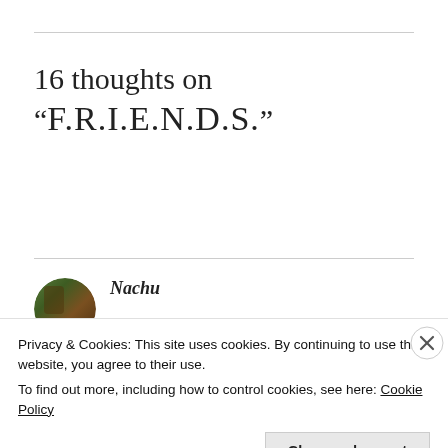16 thoughts on “F.R.I.E.N.D.S.”
Nachu
Privacy & Cookies: This site uses cookies. By continuing to use this website, you agree to their use.
To find out more, including how to control cookies, see here: Cookie Policy
Close and accept